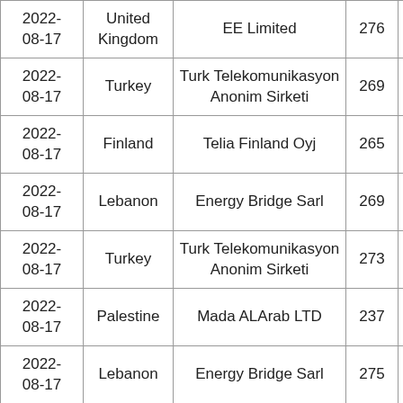| Date | Country | Organization | Number |  |
| --- | --- | --- | --- | --- |
| 2022-08-17 | United Kingdom | EE Limited | 276 |  |
| 2022-08-17 | Turkey | Turk Telekomunikasyon Anonim Sirketi | 269 |  |
| 2022-08-17 | Finland | Telia Finland Oyj | 265 |  |
| 2022-08-17 | Lebanon | Energy Bridge Sarl | 269 |  |
| 2022-08-17 | Turkey | Turk Telekomunikasyon Anonim Sirketi | 273 |  |
| 2022-08-17 | Palestine | Mada ALArab LTD | 237 |  |
| 2022-08-17 | Lebanon | Energy Bridge Sarl | 275 |  |